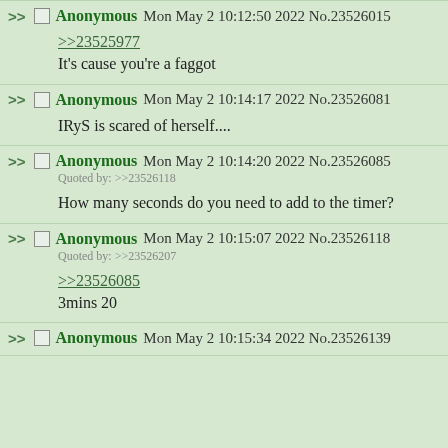>> Anonymous Mon May 2 10:12:50 2022 No.23526015
>>23525977
It's cause you're a faggot
>> Anonymous Mon May 2 10:14:17 2022 No.23526081
IRyS is scared of herself....
>> Anonymous Mon May 2 10:14:20 2022 No.23526085
Quoted by: >>23526118
How many seconds do you need to add to the timer?
>> Anonymous Mon May 2 10:15:07 2022 No.23526118
Quoted by: >>23526207
>>23526085
3mins 20
>> Anonymous Mon May 2 10:15:34 2022 No.23526139